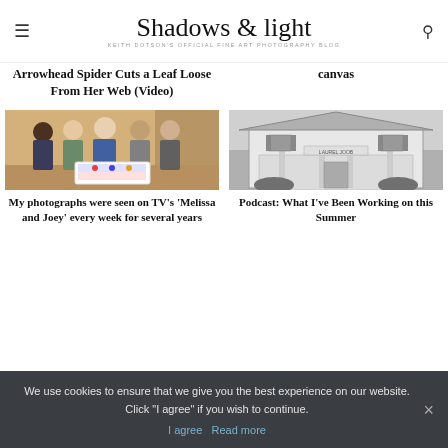Shadows & light — KEITH DOTSON'S OFFICIAL FINE ART PHOTOGRAPHY BLOG
Arrowhead Spider Cuts a Leaf Loose From Her Web (Video)
canvas
[Figure (photo): Group photo of five people with a decorated cake]
My photographs were seen on TV's 'Melissa and Joey' every week for several years
[Figure (photo): Black and white photo of a white house building with sign]
Podcast: What I've Been Working on this Summer
We use cookies to ensure that we give you the best experience on our website. Click "I agree" if you wish to continue.
I agree   Read more